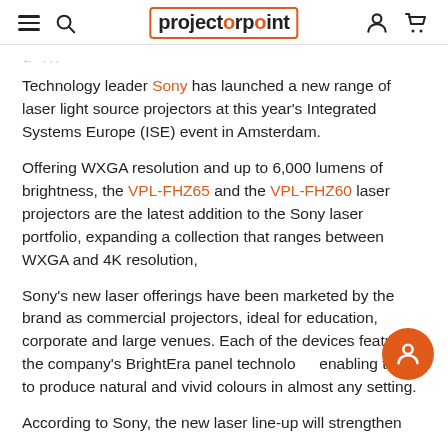projectorpoint
Technology leader Sony has launched a new range of laser light source projectors at this year's Integrated Systems Europe (ISE) event in Amsterdam.
Offering WXGA resolution and up to 6,000 lumens of brightness, the VPL-FHZ65 and the VPL-FHZ60 laser projectors are the latest addition to the Sony laser portfolio, expanding a collection that ranges between WXGA and 4K resolution,
Sony's new laser offerings have been marketed by the brand as commercial projectors, ideal for education, corporate and large venues. Each of the devices features the company's BrightEra panel technology, enabling them to produce natural and vivid colours in almost any setting.
According to Sony, the new laser line-up will strengthen